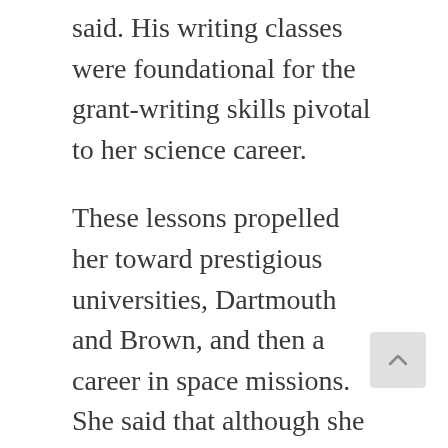said. His writing classes were foundational for the grant-writing skills pivotal to her science career.
These lessons propelled her toward prestigious universities, Dartmouth and Brown, and then a career in space missions. She said that although she struggled through her university calculus and physics class, she persisted because of teachers who encouraged her to dream big and press on.
God Ordained Her Calling
After graduate school, Aileen moved to